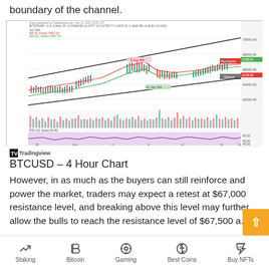boundary of the channel.
[Figure (continuous-plot): BTCUSD 4-hour candlestick chart from TradingView showing price action with 9-day and 21-day MAs, volume bars, RSI indicator, ascending channel lines, resistance level near $67,000 and support level annotated. Published Nov 15, 2021.]
BTCUSD – 4 Hour Chart
However, in as much as the buyers can still reinforce and power the market, traders may expect a retest at $67,000 resistance level, and breaking above this level may further allow the bulls to reach the resistance level of $67,500 a...